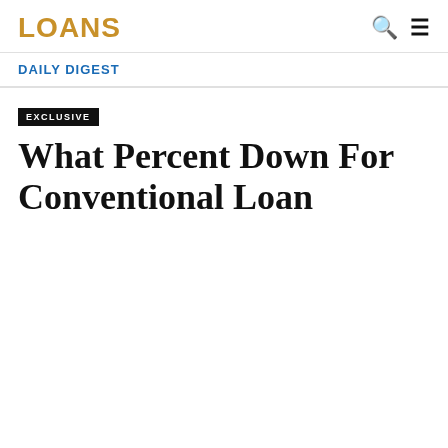LOANS
DAILY DIGEST
EXCLUSIVE
What Percent Down For Conventional Loan